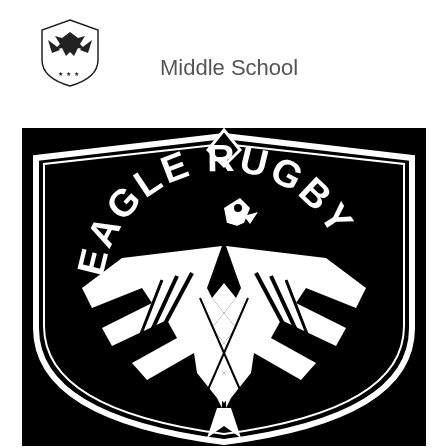[Figure (logo): Small eagle/shield logo in top left corner]
Middle School
[Figure (logo): Large Eagle Rugby logo: black background with shield shape, white eagle with spread wings and diamond pattern on body, arched text reading EAGLE RUGBY at top]